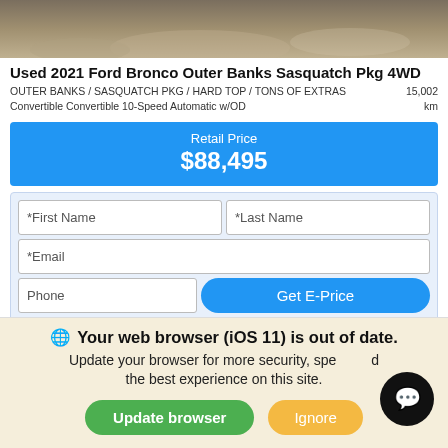[Figure (photo): Top portion of a vehicle/road photo, cropped — shows sandy/dirt surface]
Used 2021 Ford Bronco Outer Banks Sasquatch Pkg 4WD
OUTER BANKS / SASQUATCH PKG / HARD TOP / TONS OF EXTRAS   15,002
Convertible Convertible 10-Speed Automatic w/OD   km
Retail Price
$88,495
[Figure (screenshot): Web form with First Name, Last Name, Email, Phone fields and Get E-Price button]
Your web browser (iOS 11) is out of date.
Update your browser for more security, speed and the best experience on this site.
Update browser   Ignore